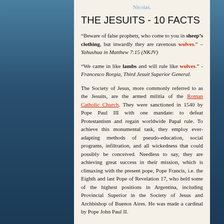Nicolas.
THE JESUITS - 10 FACTS
“Beware of false prophets, who come to you in sheep’s clothing, but inwardly they are ravenous wolves.” – Yahushua in Matthew 7:15 (NKJV)
“We came in like lambs and will rule like wolves.” - Francesco Borgia, Third Jesuit Superior General.
The Society of Jesus, more commonly referred to as the Jesuits, are the armed militia of the Roman Catholic Church. They were sanctioned in 1540 by Pope Paul III with one mandate: to defeat Protestantism and regain worldwide Papal rule. To achieve this monumental task, they employ ever-adapting methods of pseudo-education, social programs, infiltration, and all wickedness that could possibly be conceived. Needless to say, they are achieving great success in their mission, which is climaxing with the present pope, Pope Francis, i.e. the Eighth and last Pope of Revelation 17, who held some of the highest positions in Argentina, including Provincial Superior in the Society of Jesus and Archbishop of Buenos Aires. He was made a cardinal by Pope John Paul II.